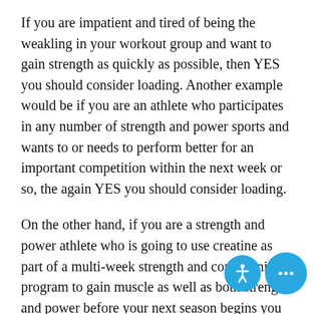If you are impatient and tired of being the weakling in your workout group and want to gain strength as quickly as possible, then YES you should consider loading. Another example would be if you are an athlete who participates in any number of strength and power sports and wants to or needs to perform better for an important competition within the next week or so, the again YES you should consider loading.
On the other hand, if you are a strength and power athlete who is going to use creatine as part of a multi-week strength and conditioning program to gain muscle as well as both strength and power before your next season begins you likely don't need to complete a loading phase. Same goes for a recreational (or competitive) bodybuilder or fitness buff who wants to improve their strength and body composition over the course of several months. In these two instances, however, a person can load if they